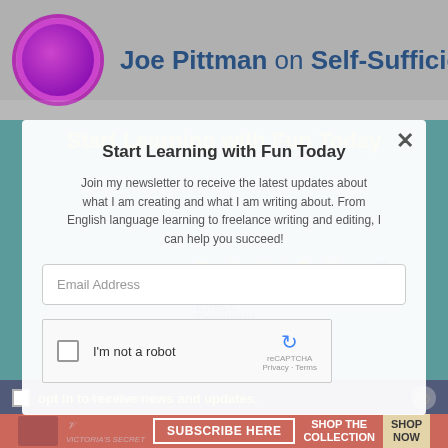Joe Pittman on Self-Sufficiency
Start Learning with Fun Today
East meets West... on Cultural Spotlight bac...
Standing Up to Doubl... on The Ripple Effect
Standing Up to Doubl... on Reaching The Gold Standard
Standing Up to Doubl... on The Why of Standards
Join my newsletter to receive the latest updates about what I am creating and what I am writing about. From English language learning to freelance writing and editing, I can help you succeed!
Email Address
I'm not a robot
opt in to receive news and updates.
Advertisements
SUBSCRIBE HERE
SHOP THE COLLECTION
SHOP NOW